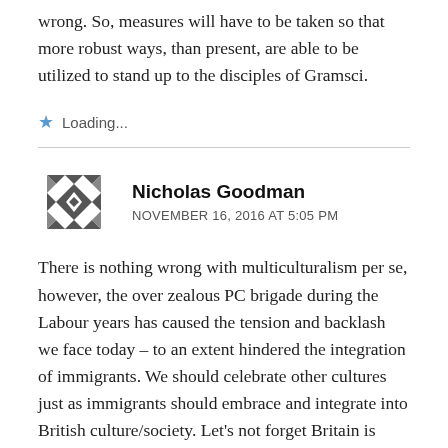wrong. So, measures will have to be taken so that more robust ways, than present, are able to be utilized to stand up to the disciples of Gramsci.
Loading...
Nicholas Goodman
NOVEMBER 16, 2016 AT 5:05 PM
There is nothing wrong with multiculturalism per se, however, the over zealous PC brigade during the Labour years has caused the tension and backlash we face today – to an extent hindered the integration of immigrants. We should celebrate other cultures just as immigrants should embrace and integrate into British culture/society. Let's not forget Britain is made up of waves of immigrants, so black, white or other should